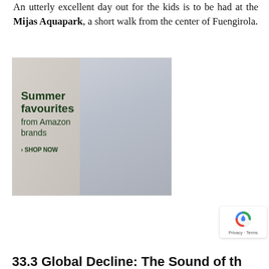An utterly excellent day out for the kids is to be had at the Mijas Aquapark, a short walk from the center of Fuengirola.
[Figure (illustration): Amazon fashion advertisement showing two young people (a man in a striped blue shirt and cream shorts, a woman in a white blouse and brown shorts) with text: 'Summer favourites from Amazon brands › SHOP NOW']
[Figure (other): reCAPTCHA privacy badge showing the reCAPTCHA logo with 'Privacy · Terms' text]
33.3 Global Decline: The Sound of th...